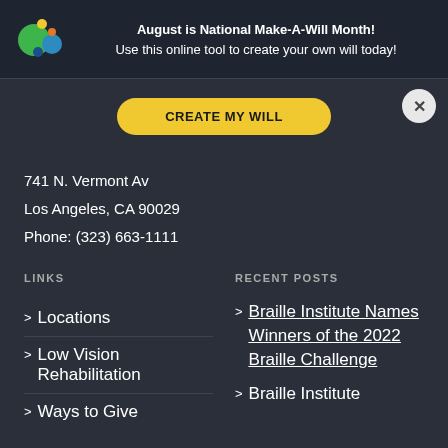August is National Make-A-Will Month! Use this online tool to create your own will today!
CREATE MY WILL
741 N. Vermont Av
Los Angeles, CA 90029
Phone: (323) 663-1111
LINKS
RECENT POSTS
> Locations
> Low Vision Rehabilitation
> Ways to Give
> Braille Institute Names Winners of the 2022 Braille Challenge
> Braille Institute